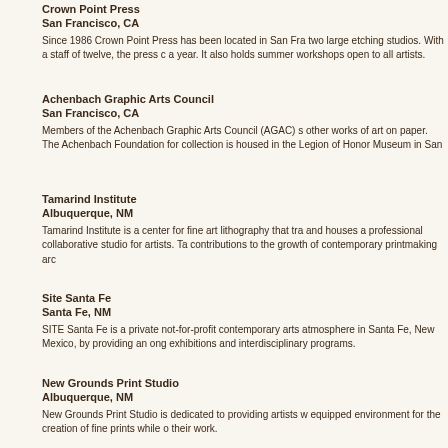Crown Point Press
San Francisco, CA
Since 1986 Crown Point Press has been located in San Fra two large etching studios. With a staff of twelve, the press c a year. It also holds summer workshops open to all artists.
Achenbach Graphic Arts Council
San Francisco, CA
Members of the Achenbach Graphic Arts Council (AGAC) s other works of art on paper. The Achenbach Foundation for collection is housed in the Legion of Honor Museum in San
Tamarind Institute
Albuquerque, NM
Tamarind Institute is a center for fine art lithography that tra and houses a professional collaborative studio for artists. Ta contributions to the growth of contemporary printmaking arc
Site Santa Fe
Santa Fe, NM
SITE Santa Fe is a private not-for-profit contemporary arts atmosphere in Santa Fe, New Mexico, by providing an ong exhibitions and interdisciplinary programs.
New Grounds Print Studio
Albuquerque, NM
New Grounds Print Studio is dedicated to providing artists w equipped environment for the creation of fine prints while o their work.